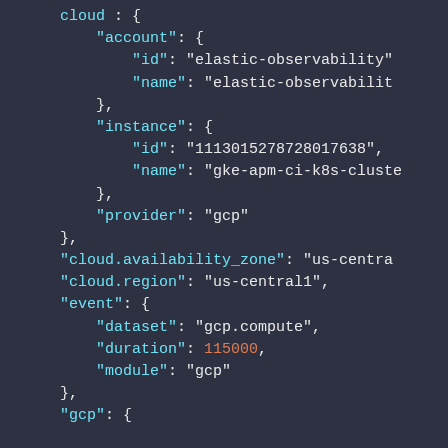cloud : {
    "account": {
        "id": "elastic-observability"
        "name": "elastic-observability
    },
    "instance": {
        "id": "1113015278728017638",
        "name": "gke-apm-ci-k8s-cluste
    },
    "provider": "gcp"
},
"cloud.availability_zone": "us-centra
"cloud.region": "us-central1",
"event": {
    "dataset": "gcp.compute",
    "duration": 115000,
    "module": "gcp"
},
"gcp": {